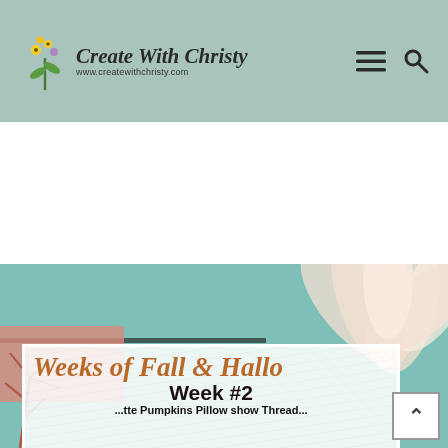Create With Christy — www.createwithchristy.com
[Figure (screenshot): Website hero section with teal and peach background, large flower petals in top right, decorative branches, and white content card overlay]
Weeks of Fall & Halloween
Week #2
...ette Pumpkins Pillow show Thread...